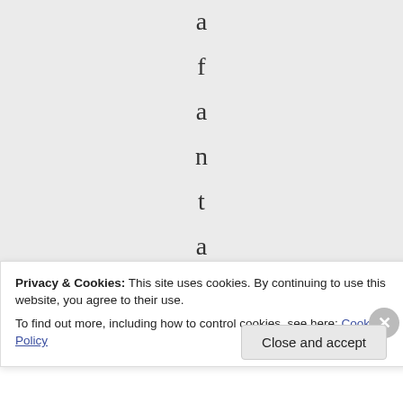a f a n t a s t i c c
Privacy & Cookies: This site uses cookies. By continuing to use this website, you agree to their use.
To find out more, including how to control cookies, see here: Cookie Policy